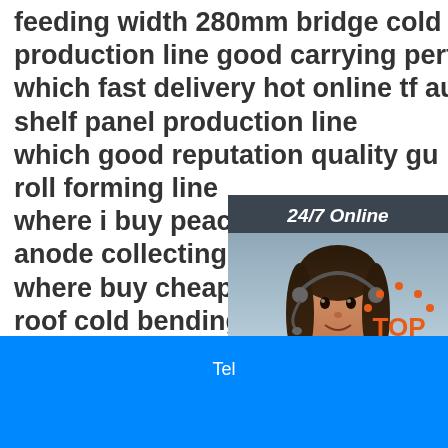feeding width 280mm bridge cold bending production line good carrying performance which fast delivery hot online tf automatic shelf panel production line which good reputation quality gu... roll forming line where i buy peace mind genuine anode collecting plate roll forming where buy cheap wholesale ware... roof cold bending production line use new parts tf roll poultry forming used grain storage industry pract... use chinese suppliers
[Figure (infographic): 24/7 Online chat widget with female customer service representative wearing headset. Dark background with 'Click here for free chat!' text and orange QUOTATION button.]
Tel
[Figure (logo): Orange TOP logo with dots arranged in arc above the word TOP]